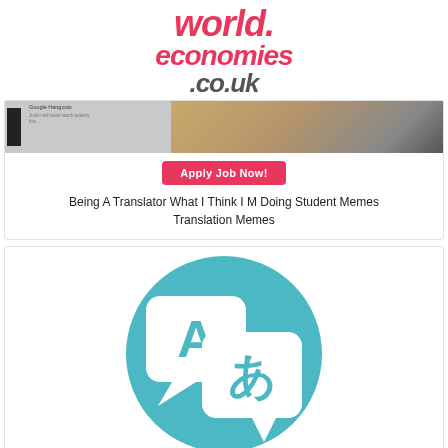world.economies.co.uk
[Figure (screenshot): Screenshot of a webpage with a Google Hangouts interface on the left and a photo of a blonde woman on the right]
[Figure (other): Red Apply Job Now! button]
Being A Translator What I Think I M Doing Student Memes Translation Memes
[Figure (illustration): Teal circular translation icon with two speech bubbles containing the letter A and the Japanese character あ (a)]